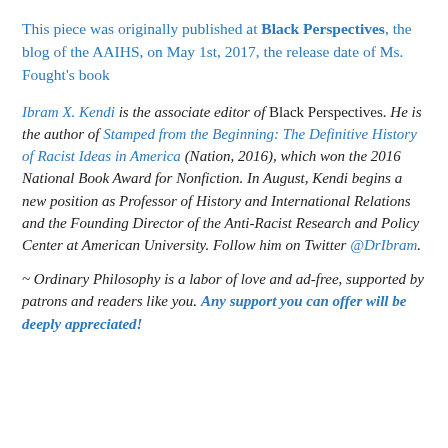This piece was originally published at Black Perspectives, the blog of the AAIHS, on May 1st, 2017, the release date of Ms. Fought's book
Ibram X. Kendi is the associate editor of Black Perspectives. He is the author of Stamped from the Beginning: The Definitive History of Racist Ideas in America (Nation, 2016), which won the 2016 National Book Award for Nonfiction. In August, Kendi begins a new position as Professor of History and International Relations and the Founding Director of the Anti-Racist Research and Policy Center at American University. Follow him on Twitter @DrIbram.
~ Ordinary Philosophy is a labor of love and ad-free, supported by patrons and readers like you. Any support you can offer will be deeply appreciated!